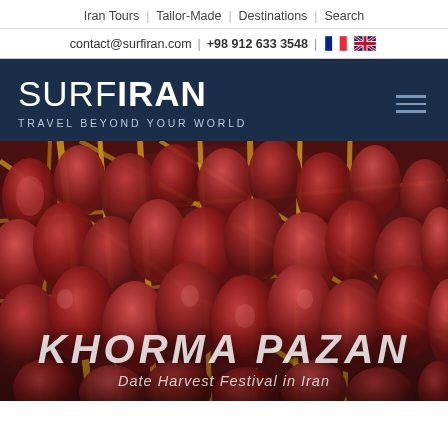Iran Tours | Tailor-Made | Destinations | Search
contact@surfiran.com | +98 912 633 3548 | [FR flag] [UK flag]
SURFIRAN — TRAVEL BEYOND YOUR WORLD
[Figure (photo): Close-up photo of ripe red/burgundy dates hanging on yellow-orange date palm fronds. Large clusters of fresh dates, glistening, filling the full frame. Warm earthy tones.]
KHORMA PAZAN
Date Harvest Festival in Iran